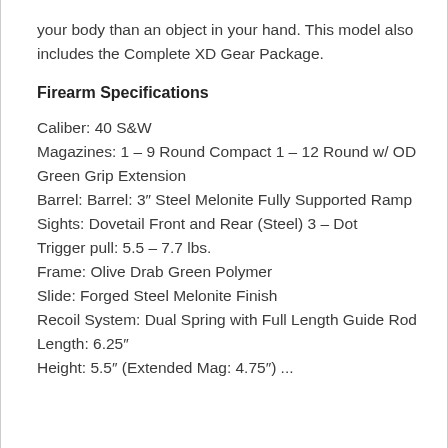your body than an object in your hand. This model also includes the Complete XD Gear Package.
Firearm Specifications
Caliber: 40 S&W
Magazines: 1 – 9 Round Compact 1 – 12 Round w/ OD Green Grip Extension
Barrel: Barrel: 3″ Steel Melonite Fully Supported Ramp
Sights: Dovetail Front and Rear (Steel) 3 – Dot
Trigger pull: 5.5 – 7.7 lbs.
Frame: Olive Drab Green Polymer
Slide: Forged Steel Melonite Finish
Recoil System: Dual Spring with Full Length Guide Rod
Length: 6.25″
Height: 5.5″ (Extended Mag: 4.75″) ...